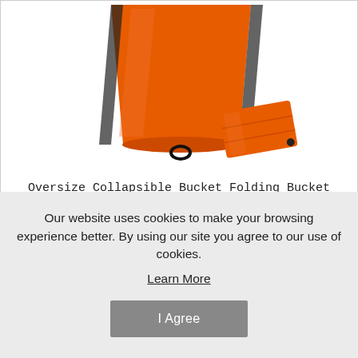[Figure (photo): An orange collapsible folding bucket (25L) shown expanded upright and folded flat beside it, on a white background.]
Oversize Collapsible Bucket Folding Bucket For Camping/ Fishing, 25L, Orange
$25.45
Our website uses cookies to make your browsing experience better. By using our site you agree to our use of cookies.
Learn More
I Agree